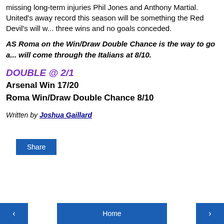missing long-term injuries Phil Jones and Anthony Martial. United's away record this season will be something the Red Devil's will w... three wins and no goals conceded.
AS Roma on the Win/Draw Double Chance is the way to go a... will come through the Italians at 8/10.
DOUBLE @ 2/1
Arsenal Win 17/20
Roma Win/Draw Double Chance 8/10
Written by Joshua Gaillard
Share
< Home >